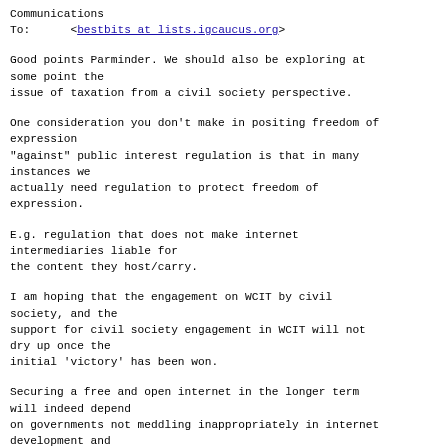Communications
To:      <bestbits at lists.igcaucus.org>
Good points Parminder. We should also be exploring at some point the
issue of taxation from a civil society perspective.
One consideration you don't make in positing freedom of expression
"against" public interest regulation is that in many instances we
actually need regulation to protect freedom of expression.
E.g. regulation that does not make internet intermediaries liable for
the content they host/carry.
I am hoping that the engagement on WCIT by civil society, and the
support for civil society engagement in WCIT will not dry up once the
initial 'victory' has been won.
Securing a free and open internet in the longer term will indeed depend
on governments not meddling inappropriately in internet development and